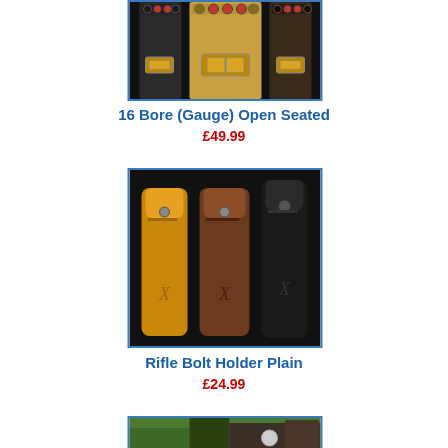[Figure (photo): Photo of leather cartridge belts in black, tan and dark brown with brass buckles, loaded with shotgun shells, displayed on a dark background.]
16 Bore (Gauge) Open Seated
£49.99
[Figure (photo): Photo of three leather rifle bolt holders in tan, brown and black displayed on a dark background.]
Rifle Bolt Holder Plain
£24.99
[Figure (photo): Partial photo of a leather product displayed on green grass background, partially visible at bottom of page.]